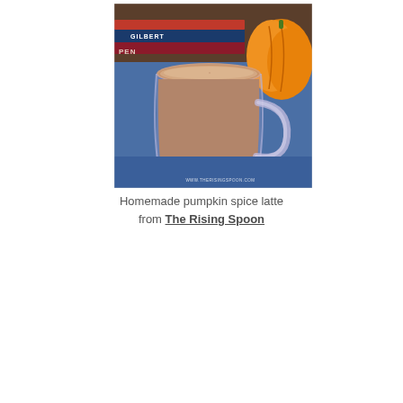[Figure (photo): A glass mug filled with a creamy pumpkin spice latte, placed on a blue surface. In the background are stacked books with 'GILBERT' visible on the spine, and an orange pumpkin decoration. A watermark reads 'WWW.THERISINGSPOON.COM'.]
Homemade pumpkin spice latte from The Rising Spoon